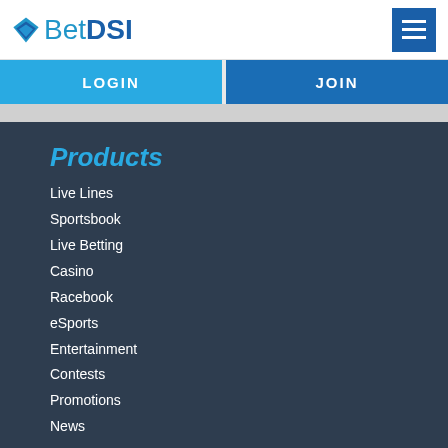[Figure (logo): BetDSI logo with diamond icon and text]
[Figure (other): Hamburger menu button (three horizontal lines on dark blue background)]
LOGIN
JOIN
Products
Live Lines
Sportsbook
Live Betting
Casino
Racebook
eSports
Entertainment
Contests
Promotions
News
Sports Odds